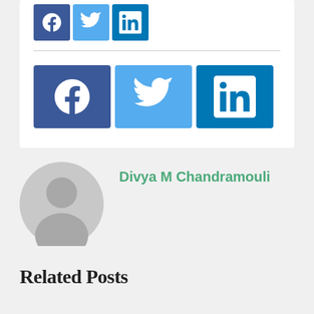[Figure (screenshot): Social media share buttons row (Facebook, Twitter, LinkedIn) - small icons at top]
[Figure (screenshot): Social media share buttons row (Facebook, Twitter, LinkedIn) - larger icons below divider]
[Figure (illustration): Generic grey user/author avatar circle with silhouette]
Divya M Chandramouli
Related Posts